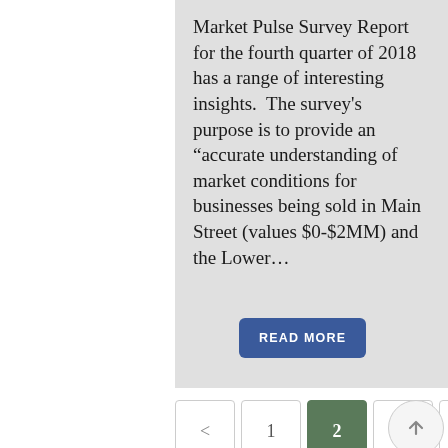Market Pulse Survey Report for the fourth quarter of 2018 has a range of interesting insights. The survey's purpose is to provide an “accurate understanding of market conditions for businesses being sold in Main Street (values $0-$2MM) and the Lower...
READ MORE
< 1 2 3 4 >